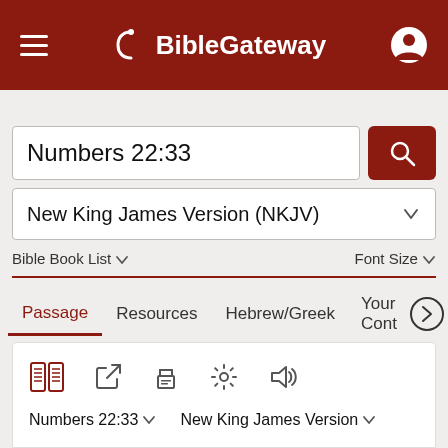BibleGateway
Numbers 22:33
New King James Version (NKJV)
Bible Book List  ∨      Font Size ∨
Passage   Resources   Hebrew/Greek   Your Cont >
[Figure (screenshot): Icon toolbar with parallel passages, external link, print, settings, and audio icons]
Numbers 22:33 ∨    New King James Version ∨